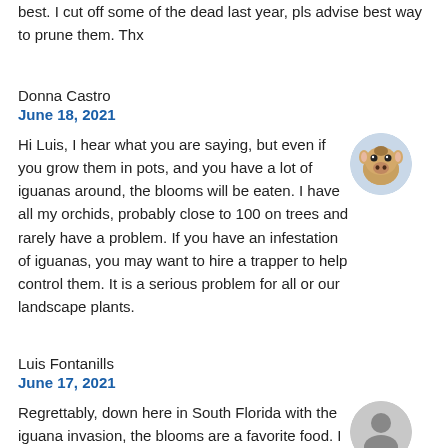best. I cut off some of the dead last year, pls advise best way to prune them. Thx
Donna Castro
June 18, 2021
Hi Luis, I hear what you are saying, but even if you grow them in pots, and you have a lot of iguanas around, the blooms will be eaten. I have all my orchids, probably close to 100 on trees and rarely have a problem. If you have an infestation of iguanas, you may want to hire a trapper to help control them. It is a serious problem for all or our landscape plants.
[Figure (photo): Circular avatar photo of a cow/calf face]
Luis Fontanills
June 17, 2021
Regrettably, down here in South Florida with the iguana invasion, the blooms are a favorite food. I am lucky if I bloom lasts more than a day or two before it is eaten. Typically the pseudobulbs and leaves will not be eaten, but the more they invade the flowers won't last
[Figure (photo): Circular generic user avatar icon in gray]